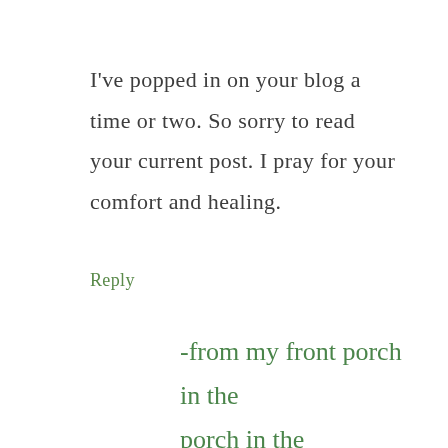I've popped in on your blog a time or two. So sorry to read your current post. I pray for your comfort and healing.
Reply
-from my front porch in the mountains- says